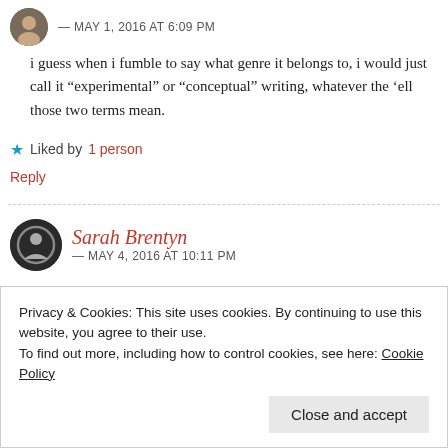— MAY 1, 2016 AT 6:09 PM
i guess when i fumble to say what genre it belongs to, i would just call it “experimental” or “conceptual” writing, whatever the ‘ell those two terms mean.
★ Liked by 1 person
Reply
Sarah Brentyn
— MAY 4, 2016 AT 10:11 PM
Privacy & Cookies: This site uses cookies. By continuing to use this website, you agree to their use.
To find out more, including how to control cookies, see here: Cookie Policy
Close and accept